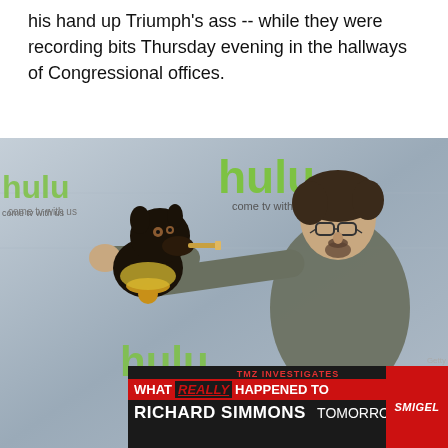his hand up Triumph's ass -- while they were recording bits Thursday evening in the hallways of Congressional offices.
[Figure (photo): Man holding up a puppet dog (Triumph the Insult Comic Dog) at a Hulu event backdrop. The man wears glasses and a gray shirt. The puppet is a black dog with a cigar. A TV lower-third banner reads: TMZ INVESTIGATES / WHAT REALLY HAPPENED TO / RICHARD SIMMONS / TOMORROW FOX / SMIGEL]
Getty